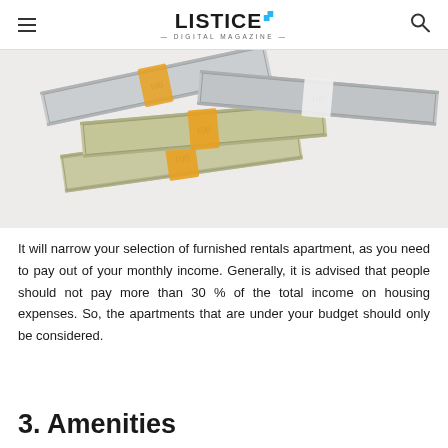LISTICE DIGITAL MAGAZINE
[Figure (photo): Stacks of US $100 dollar bills bundled with orange bands, arranged in a pile on a white background]
It will narrow your selection of furnished rentals apartment, as you need to pay out of your monthly income. Generally, it is advised that people should not pay more than 30 % of the total income on housing expenses. So, the apartments that are under your budget should only be considered.
3. Amenities